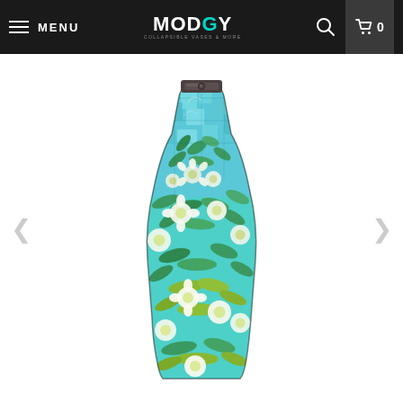MENU | MODGY | Search | Cart 0
[Figure (photo): A decorative collapsible vase with a stained-glass style floral design featuring white flowers, green leaves, and a turquoise/blue mosaic background, with a dark metallic cap on top. Displayed on a white background with left and right navigation arrows on either side.]